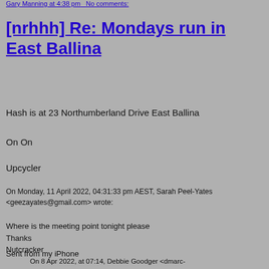Gary Manning at 4:38 pm   No comments:
[nrhhh] Re: Mondays run in East Ballina
Hash is at 23 Northumberland Drive East Ballina
On On
Upcycler
On Monday, 11 April 2022, 04:31:33 pm AEST, Sarah Peel-Yates <geezayates@gmail.com> wrote:
Where is the meeting point tonight please
Thanks
Nutcracker
Sent from my iPhone
On 8 Apr 2022, at 07:14, Debbie Goodger <dmarc-noreply@freelists.org> wrote: